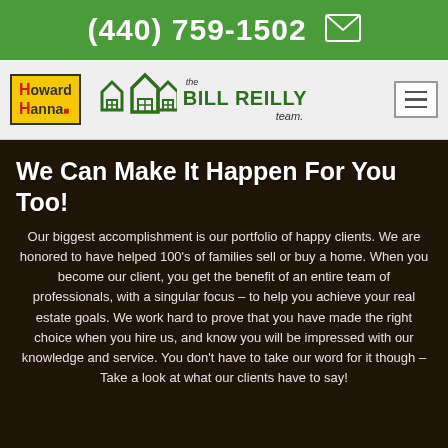(440) 759-1502
[Figure (logo): Howard Hanna and the Bill Reilly Team logo with house icons and hamburger menu]
We Can Make It Happen For You Too!
Our biggest accomplishment is our portfolio of happy clients. We are honored to have helped 100's of families sell or buy a home. When you become our client, you get the benefit of an entire team of professionals, with a singular focus – to help you achieve your real estate goals. We work hard to prove that you have made the right choice when you hire us, and know you will be impressed with our knowledge and service. You don't have to take our word for it though – Take a look at what our clients have to say!